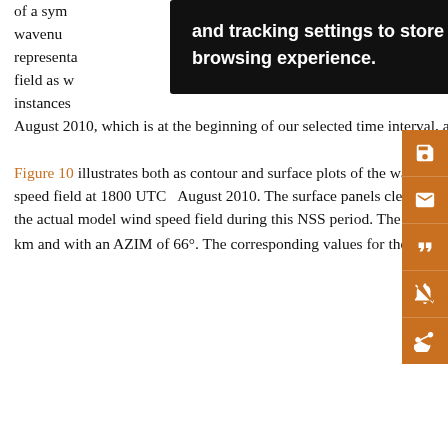of a sym[metric]... wavenumber... individual representations... speed field as w[ell]... instances [...] August 2010, which is at the beginning of our selected time interval, and 0000 UTC 29 August 2010.
Figure 10 illustrates both as contour and surface plots of the wavenumber (0:1), (0:2), and (0:3) representations as well as the actual model wind speed field at 1800 UTC August 2010. The surface panels clearly establish how poorly the sequence of wavenumber representations converges to the actual model wind speed field during this NSS period. The wavenumber (0:1) representation yields a WSMAX of 25 m s−1 with an RMW of 70 km and with an AZIM of 66°. The corresponding values for the